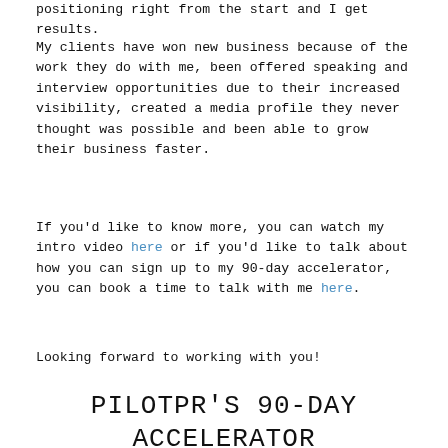positioning right from the start and I get results.
My clients have won new business because of the work they do with me, been offered speaking and interview opportunities due to their increased visibility, created a media profile they never thought was possible and been able to grow their business faster.
If you'd like to know more, you can watch my intro video here or if you'd like to talk about how you can sign up to my 90-day accelerator, you can book a time to talk with me here.
Looking forward to working with you!
PILOTPR'S 90-DAY ACCELERATOR